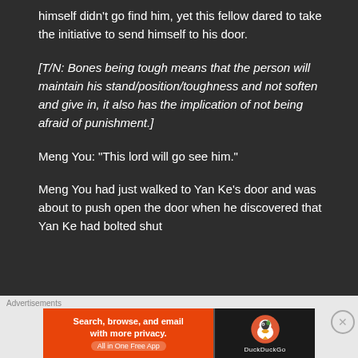himself didn't go find him, yet this fellow dared to take the initiative to send himself to his door.
[T/N: Bones being tough means that the person will maintain his stand/position/toughness and not soften and give in, it also has the implication of not being afraid of punishment.]
Meng You: “This lord will go see him.”
Meng You had just walked to Yan Ke’s door and was about to push open the door when he discovered that Yan Ke had bolted shut
[Figure (screenshot): DuckDuckGo advertisement banner with orange left section reading 'Search, browse, and email with more privacy. All in One Free App' and dark right section with DuckDuckGo duck logo]